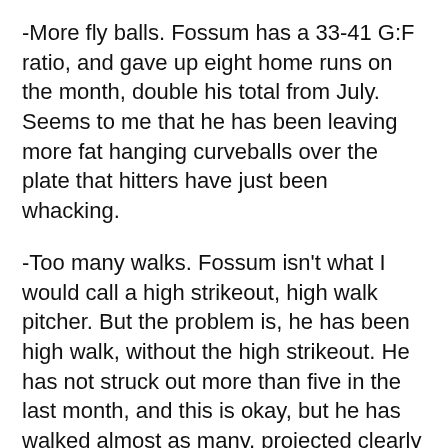-More fly balls. Fossum has a 33-41 G:F ratio, and gave up eight home runs on the month, double his total from July. Seems to me that he has been leaving more fat hanging curveballs over the plate that hitters have just been whacking.
-Too many walks. Fossum isn't what I would call a high strikeout, high walk pitcher. But the problem is, he has been high walk, without the high strikeout. He has not struck out more than five in the last month, and this is okay, but he has walked almost as many, projected clearly in his K:BB ratio, 22:16.
My theory is that because of his increased home run allowed total, Foss has been afraid to challenge hitters in the strikezone, leading, of course, to walks. He won't get it easy tonight against an experienced Yankee...